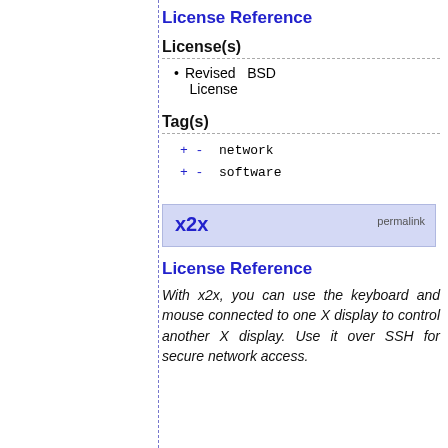License Reference
License(s)
Revised BSD License
Tag(s)
+ -  network
+ -  software
x2x  permalink
License Reference
With x2x, you can use the keyboard and mouse connected to one X display to control another X display. Use it over SSH for secure network access.